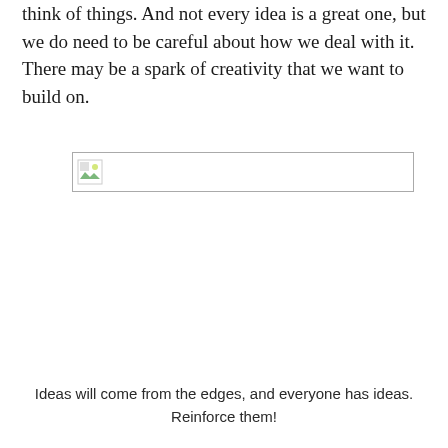think of things. And not every idea is a great one, but we do need to be careful about how we deal with it. There may be a spark of creativity that we want to build on.
[Figure (other): Broken/missing image placeholder with small image icon in top-left corner]
Ideas will come from the edges, and everyone has ideas. Reinforce them!